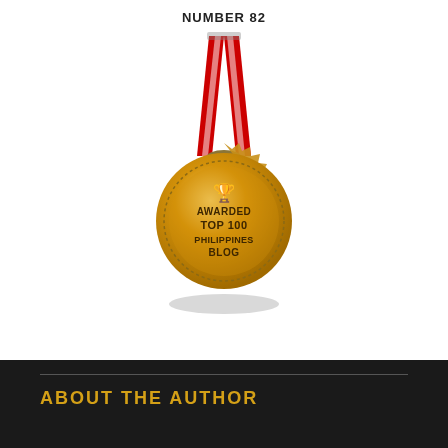NUMBER 82
[Figure (illustration): Gold medal with red ribbon/lanyard showing 'AWARDED TOP 100 PHILIPPINES BLOG' text and a trophy icon, with shadow beneath]
ABOUT THE AUTHOR